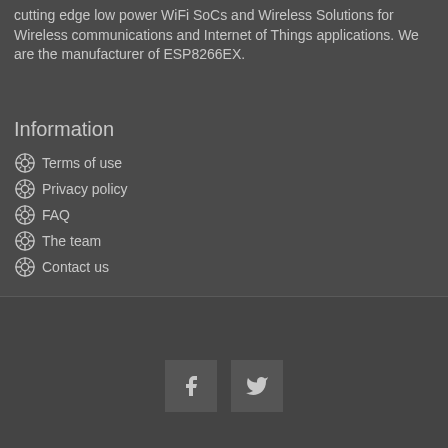cutting edge low power WiFi SoCs and Wireless Solutions for Wireless communications and Internet of Things applications. We are the manufacturer of ESP8266EX.
Information
Terms of use
Privacy policy
FAQ
The team
Contact us
[Figure (other): Facebook and Twitter social media icon buttons in a dark footer bar]